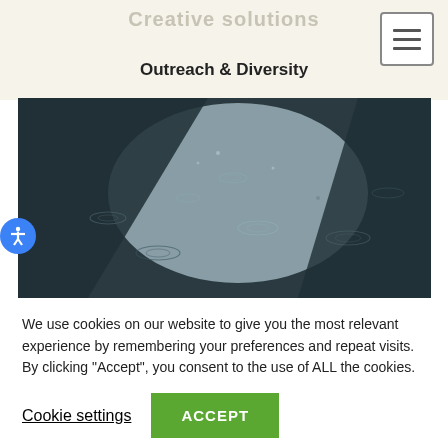Creative solutions
Outreach & Diversity
[Figure (photo): Close-up photograph of rain falling on a wet surface, showing ripples and reflections with dark and light contrasting areas]
We use cookies on our website to give you the most relevant experience by remembering your preferences and repeat visits. By clicking "Accept", you consent to the use of ALL the cookies.
Cookie settings  ACCEPT